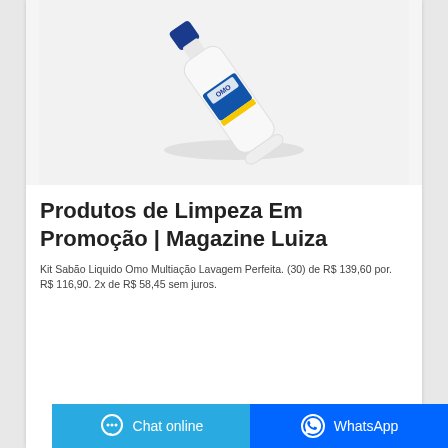[Figure (photo): A white bottle of cleaning/laundry liquid product (Omo brand) lying diagonally on a white/light gray background, seen from above.]
Produtos de Limpeza Em Promoção | Magazine Luiza
Kit Sabão Liquido Omo Multiação Lavagem Perfeita. (30) de R$ 139,60 por. R$ 116,90. 2x de R$ 58,45 sem juros.
Chat online | WhatsApp